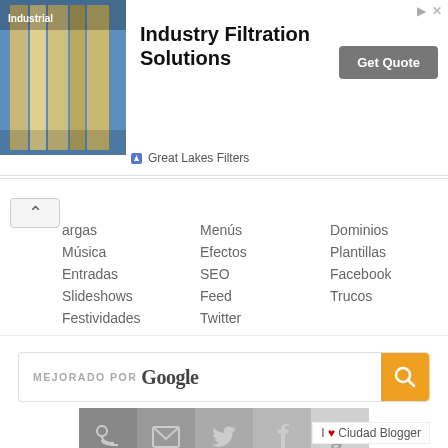[Figure (infographic): Advertisement banner for Industry Filtration Solutions by Great Lakes Filters with a Get Quote button and an image of industrial filters]
argas
Música
Entradas
Slideshows
Festividades
Menús
Efectos
SEO
Feed
Twitter
Dominios
Plantillas
Facebook
Trucos
[Figure (screenshot): Search bar with text 'MEJORADO POR Google' and an orange search button]
[Figure (infographic): Row of social media icon buttons: RSS, email, Twitter, Facebook, Google+]
ÚLTIMOS ARTÍCULOS
Inhabilitar el botón derecho con mensaje en pantalla completa - Ene 05
Aunque ya hemos visto un par de métodos para bloquear el botón
I ❤ Ciudad Blogger